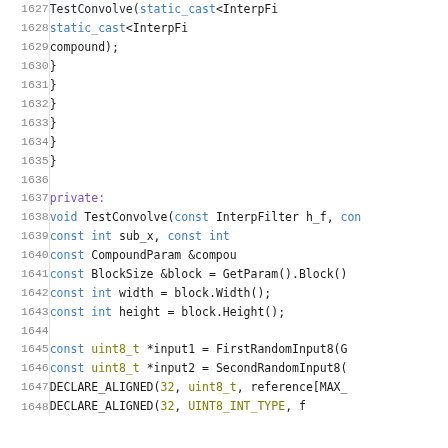[Figure (screenshot): Source code listing in a monospace code editor/viewer showing C++ code lines 1627–1647+, with line numbers on the left, and syntax highlighting using purple, blue, and olive colors. Code shows TestConvolve function calls and closing braces, then a private: section with void TestConvolve function declaration and const variable definitions.]